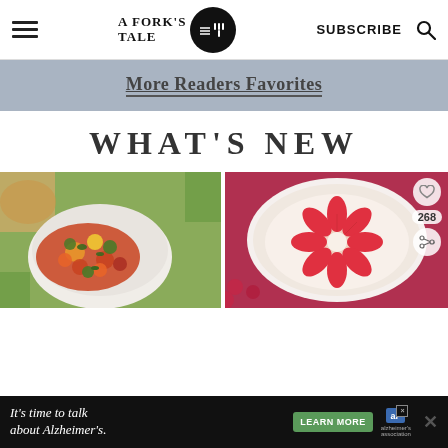A Fork's Tale — SUBSCRIBE
More Readers Favorites
WHAT'S NEW
[Figure (photo): Bowl of colorful vegetable salsa/salad with tomatoes, mango, avocado, and herbs]
[Figure (photo): Round dish with sliced strawberries arranged in a flower pattern on cream/cheesecake base, with heart and share icons overlay showing 268]
It's time to talk about Alzheimer's.
LEARN MORE